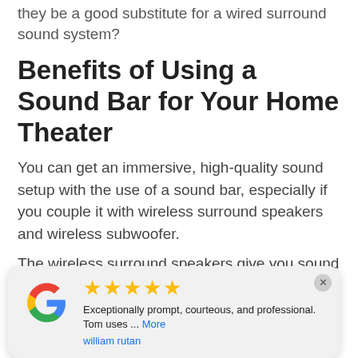they be a good substitute for a wired surround sound system?
Benefits of Using a Sound Bar for Your Home Theater
You can get an immersive, high-quality sound setup with the use of a sound bar, especially if you couple it with wireless surround speakers and wireless subwoofer.
The wireless surround speakers give you sound throughout the room, offering a more
[Figure (other): Google review card showing 5 gold stars, review text 'Exceptionally prompt, courteous, and professional. Tom uses ... More', reviewer name 'william rutan', with Google logo on the left and a close (x) button in the top right corner.]